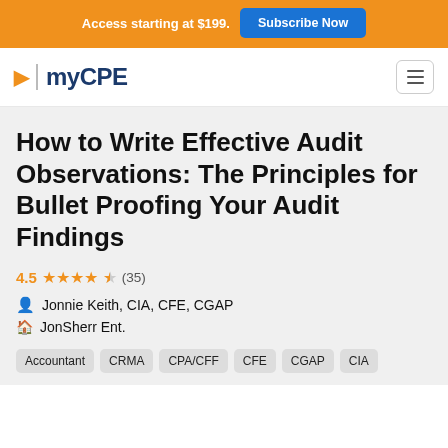Access starting at $199. Subscribe Now
[Figure (logo): myCPE logo with orange play button arrow, vertical divider, and dark blue myCPE text]
How to Write Effective Audit Observations: The Principles for Bullet Proofing Your Audit Findings
4.5 ★★★★½ (35)
Jonnie Keith, CIA, CFE, CGAP
JonSherr Ent.
Accountant
CRMA
CPA/CFF
CFE
CGAP
CIA